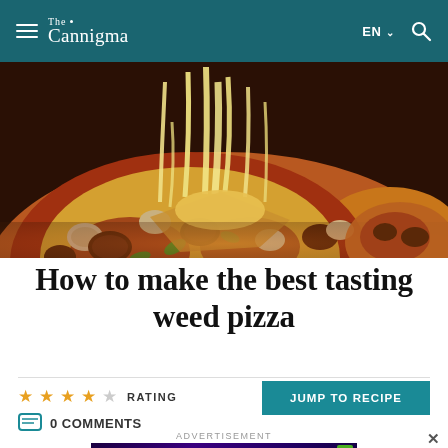The Cannigma
[Figure (photo): Close-up photo of a pizza with melted cheese stretching upward, showing toppings including mushrooms, peppers, and sausage on a pizza with thick crust]
How to make the best tasting weed pizza
★★★★☆ RATING
0 COMMENTS
JUMP TO RECIPE
ADVERTISEMENT